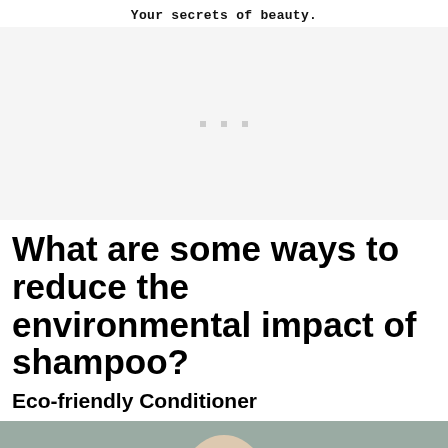Your secrets of beauty.
[Figure (other): Advertisement placeholder block with three small grey dots centered in a light grey rectangle]
What are some ways to reduce the environmental impact of shampoo?
Eco-friendly Conditioner
[Figure (photo): Partial photo of a person's head/hair at the bottom of the page, cut off]